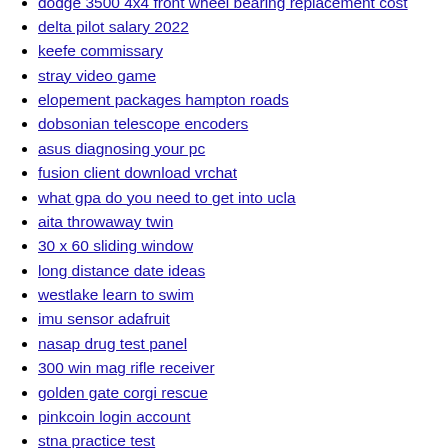dodge 3500 4x4 front wheel bearing replacement cost
delta pilot salary 2022
keefe commissary
stray video game
elopement packages hampton roads
dobsonian telescope encoders
asus diagnosing your pc
fusion client download vrchat
what gpa do you need to get into ucla
aita throwaway twin
30 x 60 sliding window
long distance date ideas
westlake learn to swim
imu sensor adafruit
nasap drug test panel
300 win mag rifle receiver
golden gate corgi rescue
pinkcoin login account
stna practice test
ratrig us
are kubota tractors made in japan
condos in orlando florida on the beach
netflix change reddit
lagoon tickets
las vegas r
discord profile picture template